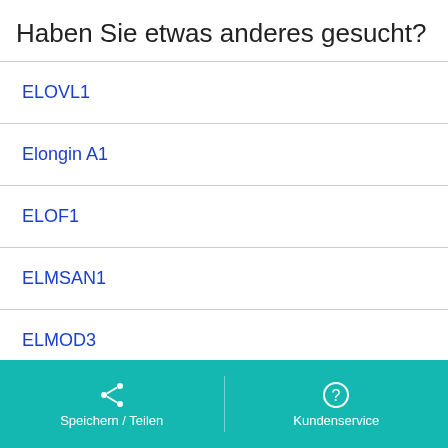Haben Sie etwas anderes gesucht?
ELOVL1
Elongin A1
ELOF1
ELMSAN1
ELMOD3
ELMOD2
Speichern / Teilen   Kundenservice